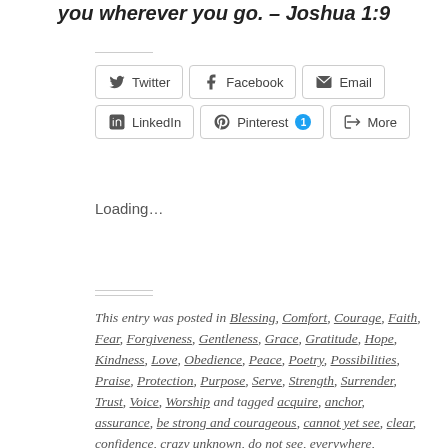you wherever you go. - Joshua 1:9
Twitter
Facebook
Email
LinkedIn
Pinterest 1
More
Loading...
This entry was posted in Blessing, Comfort, Courage, Faith, Fear, Forgiveness, Gentleness, Grace, Gratitude, Hope, Kindness, Love, Obedience, Peace, Poetry, Possibilities, Praise, Protection, Purpose, Serve, Strength, Surrender, Trust, Voice, Worship and tagged acquire, anchor, assurance, be strong and courageous, cannot yet see, clear, confidence, crazy unknown, do not see, everywhere, evidence, faith, faith grows, fearfulness, forgive, foundation, glorified, God has been good, graduated, He knows, His love, home together,